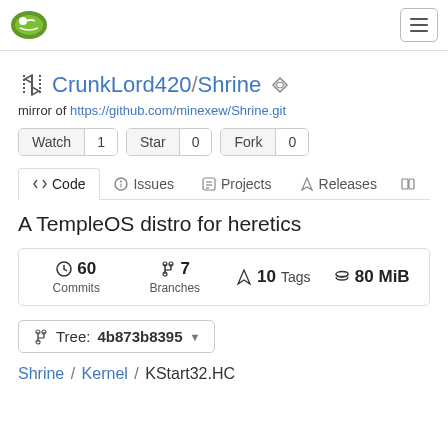Gitea navigation bar with logo and hamburger menu
CrunkLord420 / Shrine
mirror of https://github.com/minexew/Shrine.git
Watch 1  Star 0  Fork 0
Code  Issues  Projects  Releases
A TempleOS distro for heretics
60 Commits  7 Branches  10 Tags  80 MiB
Tree: 4b873b8395
Shrine / Kernel / KStart32.HC